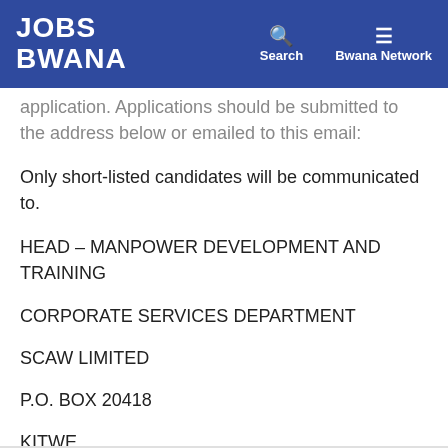JOBS BWANA | Search | Bwana Network
application. Applications should be submitted to the address below or emailed to this email:
Only short-listed candidates will be communicated to.
HEAD – MANPOWER DEVELOPMENT AND TRAINING
CORPORATE SERVICES DEPARTMENT
SCAW LIMITED
P.O. BOX 20418
KITWE.